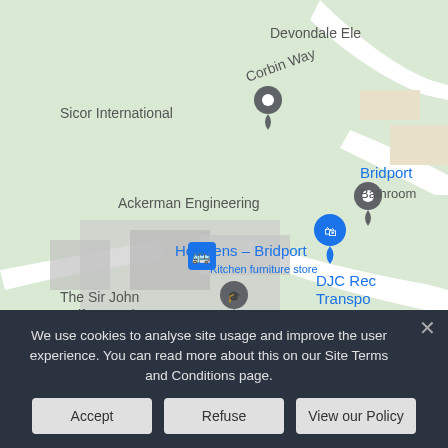[Figure (map): Google Maps screenshot showing Bridport area with pins for Sicor International, Ackerman Engineering, Howdens - Bridport (Kitchen furniture store), The Sir John Colfox Academy, and partial labels for Devondale Ele, Corbin Way, Bridport, Bathroom, DJC Rec Transport. A bus stop icon is also visible.]
We use cookies to analyse site usage and improve the user experience. You can read more about this on our Site Terms and Conditions page.
Accept
Refuse
View our Policy